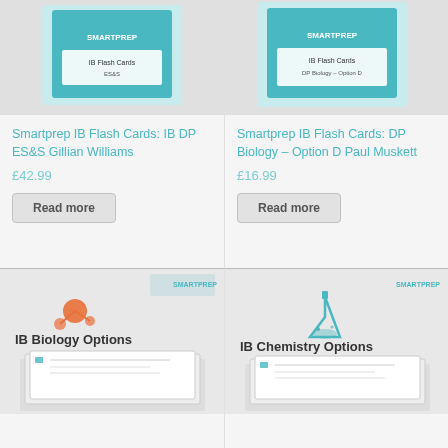[Figure (photo): Smartprep IB Flash Cards product image - top left, teal/white packaging]
[Figure (photo): Smartprep IB Flash Cards product image - top right, teal/white box packaging]
Smartprep IB Flash Cards: IB DP ES&S Gillian Williams
Smartprep IB Flash Cards: DP Biology – Option D Paul Muskett
£42.99
£16.99
Read more
Read more
[Figure (photo): IB Biology Options Smartprep flashcard product with orange molecule icon]
[Figure (photo): IB Chemistry Options Smartprep flashcard product with teal flask icon]